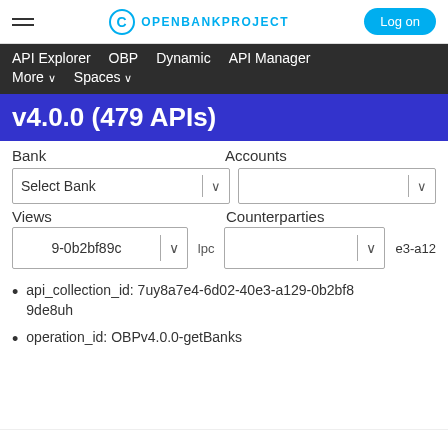OPENBANKPROJECT  Log on
API Explorer  OBP  Dynamic  API Manager  More ∨  Spaces ∨
v4.0.0 (479 APIs)
Bank   Accounts
Select Bank   [dropdown]   [dropdown]
Views   Counterparties
9-0b2bf89c   [dropdown]   [dropdown]   e3-a12
api_collection_id: 7uy8a7e4-6d02-40e3-a129-0b2bf89de8uh
operation_id: OBPv4.0.0-getBanks